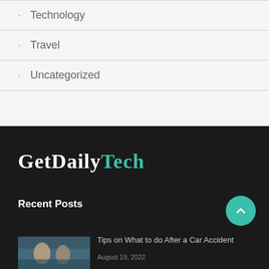Technology
Travel
Uncategorized
[Figure (logo): GetDailyTech logo in white and teal on dark background]
Recent Posts
[Figure (photo): Thumbnail photo of people near a car]
Tips on What to do After a Car Accident
August 19, 2022